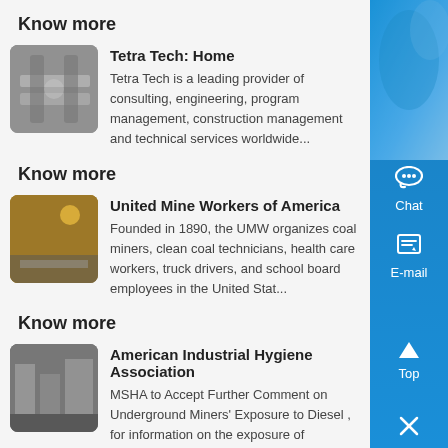Know more
[Figure (photo): Industrial conveyor belt or mining equipment photo]
Tetra Tech: Home
Tetra Tech is a leading provider of consulting, engineering, program management, construction management and technical services worldwide...
Know more
[Figure (photo): Mining operation with workers in yellow helmets]
United Mine Workers of America
Founded in 1890, the UMW organizes coal miners, clean coal technicians, health care workers, truck drivers, and school board employees in the United Stat...
Know more
[Figure (photo): Industrial warehouse or factory interior]
American Industrial Hygiene Association
MSHA to Accept Further Comment on Underground Miners' Exposure to Diesel , for information on the exposure of underground miners to diesel exhaust...